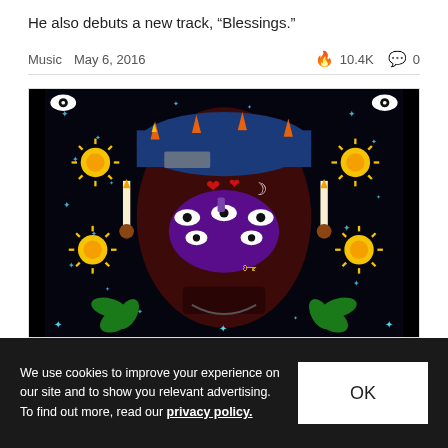He also debuts a new track, “Blessings.”
Music  May 6, 2016  🔥 10.4K  💬 0
[Figure (illustration): Colorful album artwork featuring a face with multiple eyes, surrounded by suns, stars, candles, palm trees, and other symbolic imagery on a black background]
We use cookies to improve your experience on our site and to show you relevant advertising. To find out more, read our privacy policy.